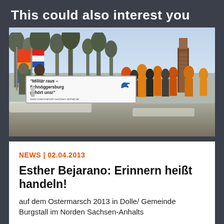This could also interest you
[Figure (photo): Protest march in winter/snow. Demonstrators holding a white banner reading 'Militär raus – Schnöggersburg gehört uns!' with a blue dove and website www.ostermarsch-sachsen-anhalt.de. People wearing orange safety vests visible in background, flags visible on left side, bare trees and brick gate structure in background under blue sky.]
NEWS | 02.04.2013
Esther Bejarano: Erinnern heißt handeln!
auf dem Ostermarsch 2013 in Dolle/ Gemeinde Burgstall im Norden Sachsen-Anhalts